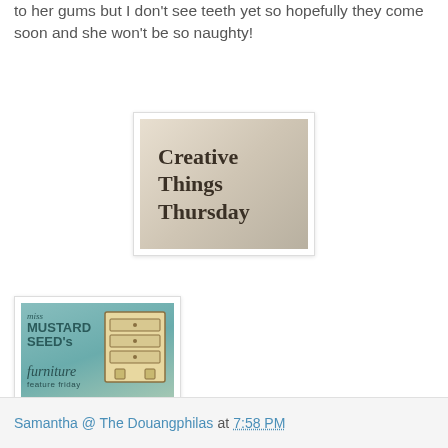to her gums but I don't see teeth yet so hopefully they come soon and she won't be so naughty!
[Figure (illustration): Creative Things Thursday badge/logo image with decorative floral background]
[Figure (illustration): Miss Mustard Seed's Furniture Feature Friday badge/logo with teal background and dresser illustration]
Samantha @ The Douangphilas at 7:58 PM